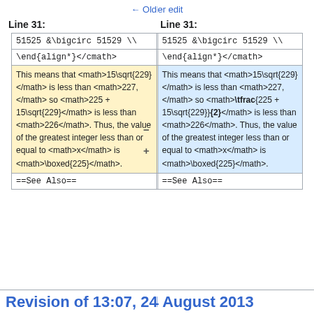← Older edit
Line 31:   Line 31:
| (left) | (right) |
| --- | --- |
| 51525 &\bigcirc 51529 \\ | 51525 &\bigcirc 51529 \\ |
| \end{align*}</cmath> | \end{align*}</cmath> |
| This means that <math>15\sqrt{229}</math> is less than <math>227,</math> so <math>225 + 15\sqrt{229}</math> is less than <math>226</math>. Thus, the value of the greatest integer less than or equal to <math>x</math> is <math>\boxed{225}</math>. | This means that <math>15\sqrt{229}</math> is less than <math>227,</math> so <math>\tfrac{225 + 15\sqrt{229}}{2}</math> is less than <math>226</math>. Thus, the value of the greatest integer less than or equal to <math>x</math> is <math>\boxed{225}</math>. |
| ==See Also== | ==See Also== |
Revision of 13:07, 24 August 2013